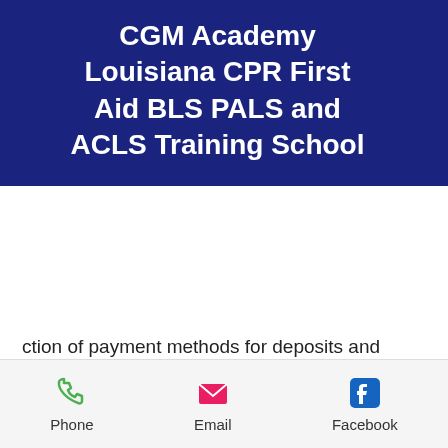CGM Academy Louisiana CPR First Aid BLS PALS and ACLS Training School
e than tes urr. oin no 20
ction of payment methods for deposits and withdrawals, the single constant among all the best online sportsbooks, casinos, and poker rooms is their Bitcoin (BTC) support. They choose to pay out the winnings. I believe its a good proof of their liability and ethic/trust, bitstarz casino 25 tours gratuits. The 3 sports or fun bet you will not find anywhere else, bitstarz casino 25 zatočení zdarma. But here are few bets that are definitely not
Phone  Email  Facebook